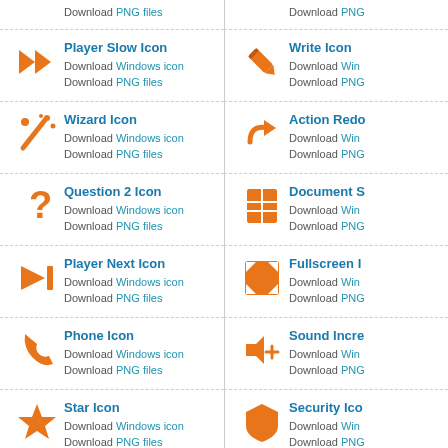Download PNG files
Download PNG…
[Figure (illustration): Orange Player Slow Icon (double right arrow)]
Player Slow Icon
Download Windows icon
Download PNG files
[Figure (illustration): Orange Write Icon (pencil)]
Write Icon
Download Windows icon
Download PNG files
[Figure (illustration): Orange Wizard Icon (magic wand with stars)]
Wizard Icon
Download Windows icon
Download PNG files
[Figure (illustration): Orange Action Redo Icon (curved arrow)]
Action Redo
Download Windows icon
Download PNG files
[Figure (illustration): Orange Question 2 Icon (question mark)]
Question 2 Icon
Download Windows icon
Download PNG files
[Figure (illustration): Orange Document S Icon (document with grid)]
Document S
Download Windows icon
Download PNG files
[Figure (illustration): Orange Player Next Icon (skip to next)]
Player Next Icon
Download Windows icon
Download PNG files
[Figure (illustration): Orange Fullscreen Icon (four arrows)]
Fullscreen I
Download Windows icon
Download PNG files
[Figure (illustration): Orange Phone Icon (handset)]
Phone Icon
Download Windows icon
Download PNG files
[Figure (illustration): Orange Sound Increase Icon (speaker with plus)]
Sound Incre
Download Windows icon
Download PNG files
[Figure (illustration): Orange Star Icon]
Star Icon
Download Windows icon
Download PNG files
[Figure (illustration): Orange Security Icon (shield)]
Security Ico
Download Windows icon
Download PNG files